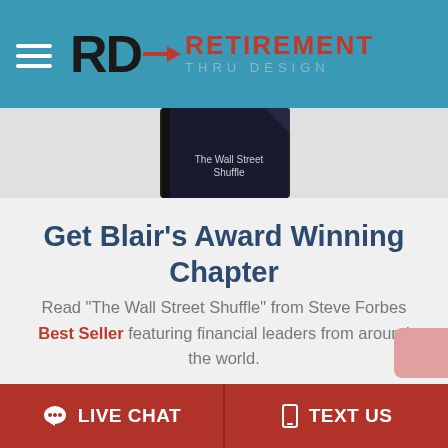RD → RETIREMENT THRU DESIGN
[Figure (photo): Partial view of a book (dark spine/cover visible at top of page)]
Get Blair's Award Winning Chapter
Read "The Wall Street Shuffle" from Steve Forbes Best Seller featuring financial leaders from around the world.
Click here to get your copy
LIVE CHAT   TEXT US